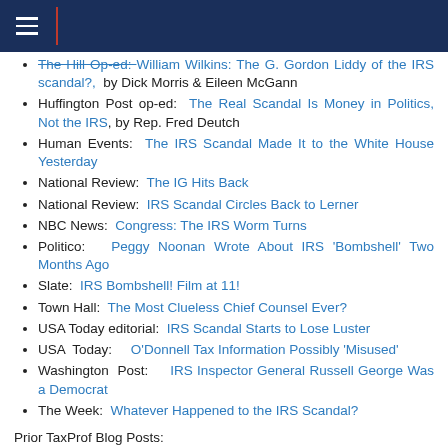The Hill Op-ed: William Wilkins: The G. Gordon Liddy of the IRS scandal?, by Dick Morris & Eileen McGann
Huffington Post op-ed: The Real Scandal Is Money in Politics, Not the IRS, by Rep. Fred Deutch
Human Events: The IRS Scandal Made It to the White House Yesterday
National Review: The IG Hits Back
National Review: IRS Scandal Circles Back to Lerner
NBC News: Congress: The IRS Worm Turns
Politico: Peggy Noonan Wrote About IRS 'Bombshell' Two Months Ago
Slate: IRS Bombshell! Film at 11!
Town Hall: The Most Clueless Chief Counsel Ever?
USA Today editorial: IRS Scandal Starts to Lose Luster
USA Today: O'Donnell Tax Information Possibly 'Misused'
Washington Post: IRS Inspector General Russell George Was a Democrat
The Week: Whatever Happened to the IRS Scandal?
Prior TaxProf Blog Posts: